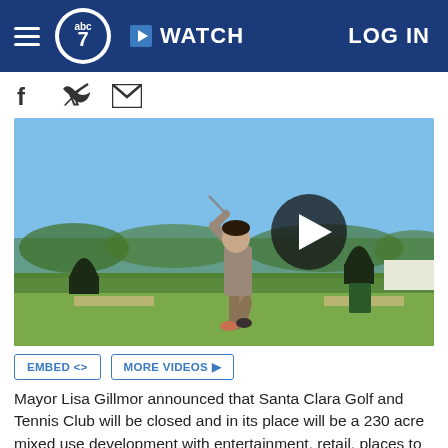ABC7 News | WATCH | LOG IN
[Figure (screenshot): Social media share icons: Facebook, Twitter, Email]
[Figure (photo): A golfer mid-swing at a golf driving range on a sunny day, with a video play button overlay in the center]
EMBED <> | MORE VIDEOS ▶
Mayor Lisa Gillmor announced that Santa Clara Golf and Tennis Club will be closed and in its place will be a 230 acre mixed use development with entertainment, retail, places to play and for the arts.